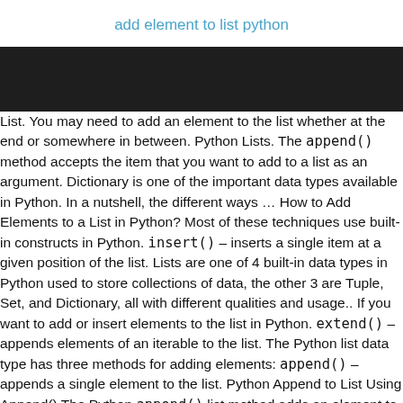add element to list python
[Figure (other): Dark black banner/header image area]
List. You may need to add an element to the list whether at the end or somewhere in between. Python Lists. The append() method accepts the item that you want to add to a list as an argument. Dictionary is one of the important data types available in Python. In a nutshell, the different ways … How to Add Elements to a List in Python? Most of these techniques use built-in constructs in Python. insert() – inserts a single item at a given position of the list. Lists are one of 4 built-in data types in Python used to store collections of data, the other 3 are Tuple, Set, and Dictionary, all with different qualities and usage.. If you want to add or insert elements to the list in Python. extend() – appends elements of an iterable to the list. The Python list data type has three methods for adding elements: append() – appends a single element to the list. Python Append to List Using Append() The Python append() list method adds an element to the end of a list. What Are Python Lists. List. append